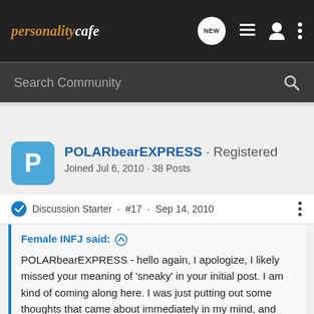personalitycafe
Search Community
POLARbearEXPRESS · Registered
Joined Jul 6, 2010 · 38 Posts
Discussion Starter · #17 · Sep 14, 2010
Female INFJ said: ↑
POLARbearEXPRESS - hello again, I apologize, I likely missed your meaning of 'sneaky' in your initial post. I am kind of coming along here. I was just putting out some thoughts that came about immediately in my mind, and sharing. Certainly I can see that happening for sure. I had a friend who knew me for over 10 years, and still said to me occasionally," wow, I never knew that about you?!"